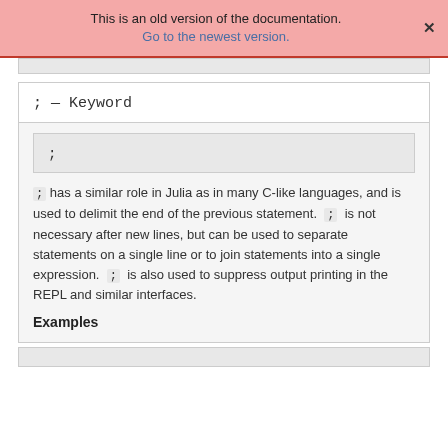This is an old version of the documentation.
Go to the newest version.
; — Keyword
;
; has a similar role in Julia as in many C-like languages, and is used to delimit the end of the previous statement. ; is not necessary after new lines, but can be used to separate statements on a single line or to join statements into a single expression. ; is also used to suppress output printing in the REPL and similar interfaces.
Examples